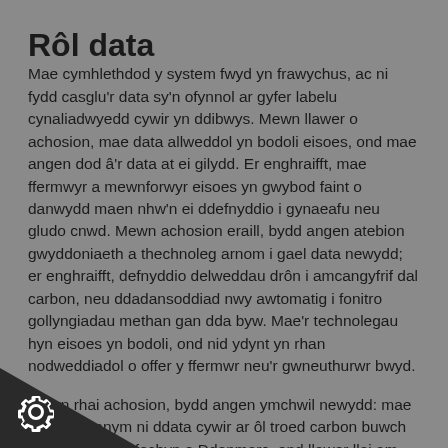Rôl data
Mae cymhlethdod y system fwyd yn frawychus, ac ni fydd casglu'r data sy'n ofynnol ar gyfer labelu cynaliadwyedd cywir yn ddibwys. Mewn llawer o achosion, mae data allweddol yn bodoli eisoes, ond mae angen dod â'r data at ei gilydd. Er enghraifft, mae ffermwyr a mewnforwyr eisoes yn gwybod faint o danwydd maen nhw'n ei ddefnyddio i gynaeafu neu gludo cnwd. Mewn achosion eraill, bydd angen atebion gwyddoniaeth a thechnoleg arnom i gael data newydd; er enghraifft, defnyddio delweddau drôn i amcangyfrif dal carbon, neu ddadansoddiad nwy awtomatig i fonitro gollyngiadau methan gan dda byw. Mae'r technolegau hyn eisoes yn bodoli, ond nid ydynt yn rhan nodweddiadol o offer y ffermwr neu'r gwneuthurwr bwyd.
Mewn rhai achosion, bydd angen ymchwil newydd: mae eisoes gennym ni ddata cywir ar ôl troed carbon buwch laeth y DU neu fochyn o Ddenmarc, ond llawer llai am blanhigfeydd ffi ar raddfa fach neu gynaeafu cnau coed organig, er raifft. Mae hyn yn arbennig o wir am fathau newydd o naliadwy sy'n dod i'r amlwg; dim ond os oes set ddata